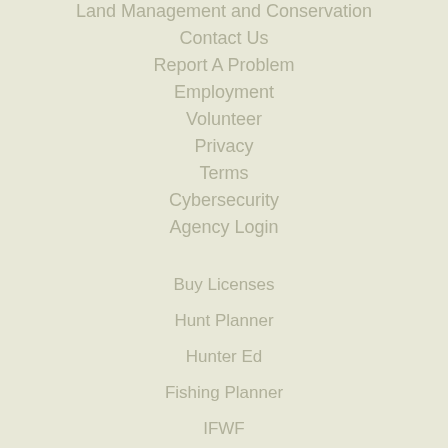Land Management and Conservation
Contact Us
Report A Problem
Employment
Volunteer
Privacy
Terms
Cybersecurity
Agency Login
Buy Licenses
Hunt Planner
Hunter Ed
Fishing Planner
IFWF
Hunt Report